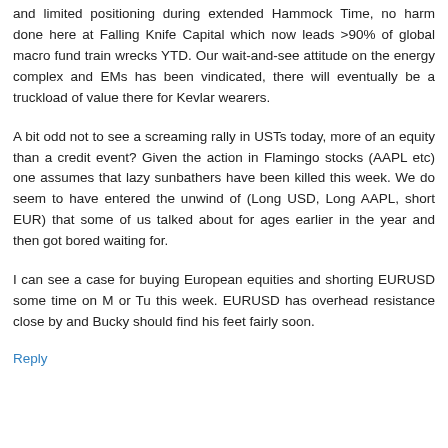and limited positioning during extended Hammock Time, no harm done here at Falling Knife Capital which now leads >90% of global macro fund train wrecks YTD. Our wait-and-see attitude on the energy complex and EMs has been vindicated, there will eventually be a truckload of value there for Kevlar wearers.
A bit odd not to see a screaming rally in USTs today, more of an equity than a credit event? Given the action in Flamingo stocks (AAPL etc) one assumes that lazy sunbathers have been killed this week. We do seem to have entered the unwind of (Long USD, Long AAPL, short EUR) that some of us talked about for ages earlier in the year and then got bored waiting for.
I can see a case for buying European equities and shorting EURUSD some time on M or Tu this week. EURUSD has overhead resistance close by and Bucky should find his feet fairly soon.
Reply